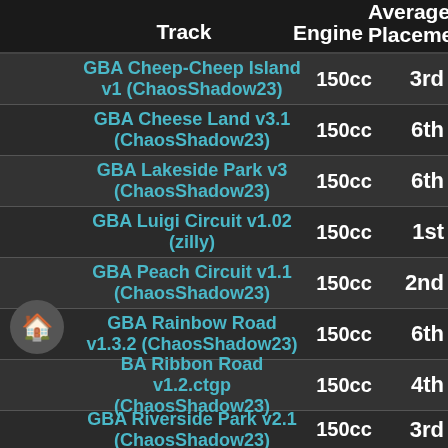| Track | Engine | Average Placement |
| --- | --- | --- |
| GBA Cheep-Cheep Island v1 (ChaosShadow23) | 150cc | 3rd |
| GBA Cheese Land v3.1 (ChaosShadow23) | 150cc | 6th |
| GBA Lakeside Park v3 (ChaosShadow23) | 150cc | 6th |
| GBA Luigi Circuit v1.02 (zilly) | 150cc | 1st |
| GBA Peach Circuit v1.1 (ChaosShadow23) | 150cc | 2nd |
| GBA Rainbow Road v1.3.2 (ChaosShadow23) | 150cc | 6th |
| GBA Ribbon Road v1.2.ctgp (ChaosShadow23) | 150cc | 4th |
| GBA Riverside Park v2.1 (ChaosShadow23) | 150cc | 3rd |